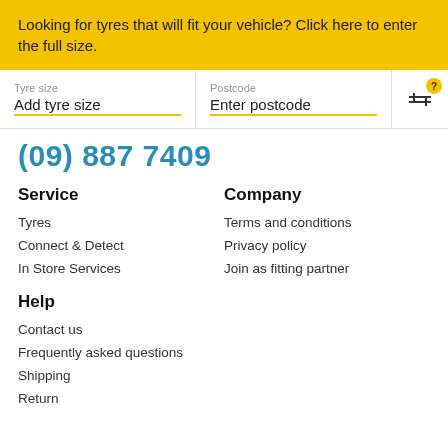Looking for tyres that will fit your vehicle? Click here to enter the full size.
Tyre size
Add tyre size
Postcode
Enter postcode
(09) 887 7409
Service
Tyres
Connect & Detect
In Store Services
Company
Terms and conditions
Privacy policy
Join as fitting partner
Help
Contact us
Frequently asked questions
Shipping
Return